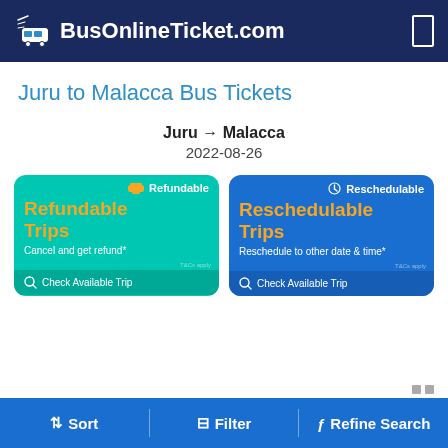BusOnlineTicket.com
Juru to Malacca Bus Tickets
Juru → Malacca
2022-08-26
[Figure (infographic): Refundable Trips card: teal background with badge 'Refundable', large yellow text 'Refundable Trips', white subtext 'Cancel and get refund*', footer 'Check Available Trip']
[Figure (infographic): Reschedulable Trips card: blue background with badge 'Reschedulable', large yellow text 'Reschedulable Trips', white subtext 'Reschedule to other date & time*', footer 'Check Available Trip']
Sort   Filter   Refine Search